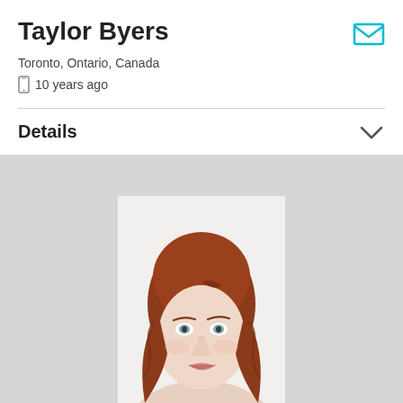Taylor Byers
Toronto, Ontario, Canada
10 years ago
Details
[Figure (photo): Portrait photo of a woman with long auburn/red wavy hair, pale skin, light eyes, wearing neutral clothing against a white background. She is smiling slightly and tilting her head.]